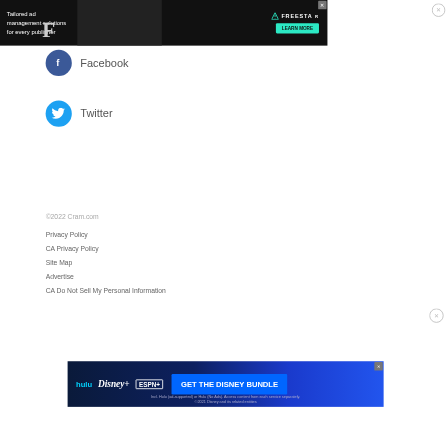[Figure (screenshot): Top advertisement banner: dark background with text 'Tailored ad management solutions for every publisher', Freestar logo with 'LEARN MORE' button, and close X button]
Facebook
Twitter
©2022 Cram.com
Privacy Policy
CA Privacy Policy
Site Map
Advertise
CA Do Not Sell My Personal Information
[Figure (screenshot): Bottom advertisement banner for Disney Bundle featuring Hulu, Disney+, ESPN+ logos with 'GET THE DISNEY BUNDLE' call to action]